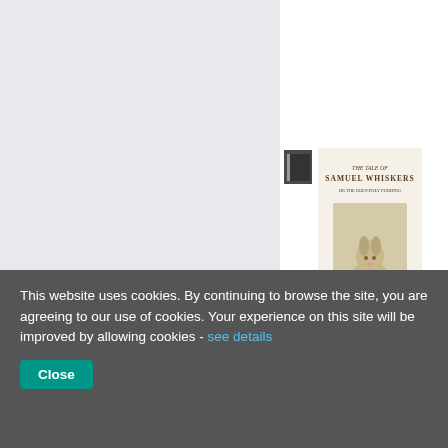13 in Stock
[Figure (illustration): Book listing for The Tale of Samuel Whiskers by Beatrix Potter. Shows small book icon, book cover image with rabbit illustration, title, author, published date, star rating (3 stars), and 53 in Stock label.]
The Tale of Samuel Whiskers
Author: Po...
Published:
53 in Stock
[Figure (illustration): Book listing for The Story of A Fierce Bad Rabbit by Beatrix Potter. Shows small book icon, book cover image with rabbit, title, author, published date.]
The Story of A Fierce Bad Rabbit
Author: Po...
Published:
This website uses cookies. By continuing to browse the site, you are agreeing to our use of cookies. Your experience on this site will be improved by allowing cookies - see details
Close